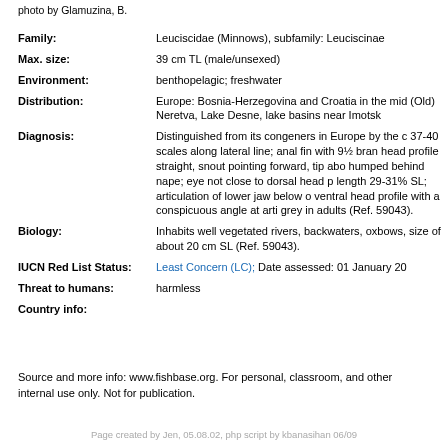photo by Glamuzina, B.
| Family: | Leuciscidae (Minnows), subfamily: Leuciscinae |
| Max. size: | 39 cm TL (male/unsexed) |
| Environment: | benthopelagic; freshwater |
| Distribution: | Europe: Bosnia-Herzegovina and Croatia in the mid (Old) Neretva, Lake Desne, lake basins near Imotsk |
| Diagnosis: | Distinguished from its congeners in Europe by the c 37-40 scales along lateral line; anal fin with 9½ bran head profile straight, snout pointing forward, tip abo humped behind nape; eye not close to dorsal head p length 29-31% SL; articulation of lower jaw below o ventral head profile with a conspicuous angle at arti grey in adults (Ref. 59043). |
| Biology: | Inhabits well vegetated rivers, backwaters, oxbows, size of about 20 cm SL (Ref. 59043). |
| IUCN Red List Status: | Least Concern (LC); Date assessed: 01 January 20 |
| Threat to humans: | harmless |
| Country info: |  |
Source and more info: www.fishbase.org. For personal, classroom, and other internal use only. Not for publication.
Page created by Jen, 05.08.02, php script by kbanasihan 06/09